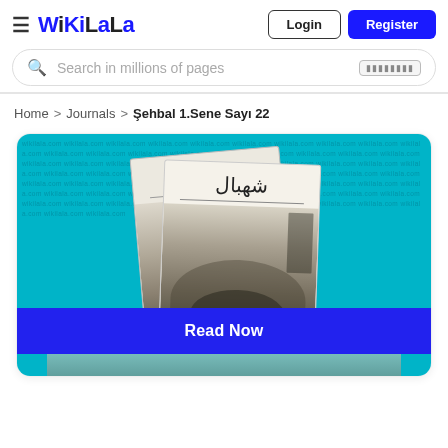[Figure (logo): WikiLala logo with hamburger menu icon]
Login
Register
Search in millions of pages
Home > Journals > Şehbal 1.Sene Sayı 22
[Figure (screenshot): WikiLala journal listing page showing Şehbal journal cover with Arabic script title on teal background, with Read Now button]
Read Now